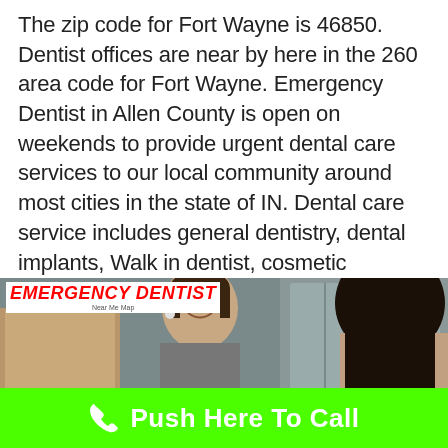The zip code for Fort Wayne is 46850. Dentist offices are near by here in the 260 area code for Fort Wayne. Emergency Dentist in Allen County is open on weekends to provide urgent dental care services to our local community around most cities in the state of IN. Dental care service includes general dentistry, dental implants, Walk in dentist, cosmetic dentistry, dentures, and invisalign. Make a dentist appointment today.
[Figure (photo): Photo of two women in a dental office, one smiling receptionist with glasses facing a patient with dark hair. An 'Emergency Dentist' logo overlay appears in the top-left corner of the image.]
Push Here To Call